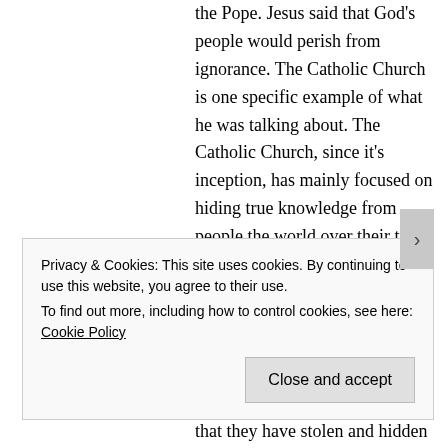the Pope. Jesus said that God's people would perish from ignorance. The Catholic Church is one specific example of what he was talking about. The Catholic Church, since it's inception, has mainly focused on hiding true knowledge from people the world over their true divine connection with the Holy Spirit and how to live in that connection. The Catholic Church sits on over 50 miles of books, ancient scrolls, statues paintings and sculptures, and knowledge that they have stolen and hidden from the world. There is much more than that that they have destroyed permanently. You will never be allowed to lay eyes on
Privacy & Cookies: This site uses cookies. By continuing to use this website, you agree to their use.
To find out more, including how to control cookies, see here: Cookie Policy
Close and accept